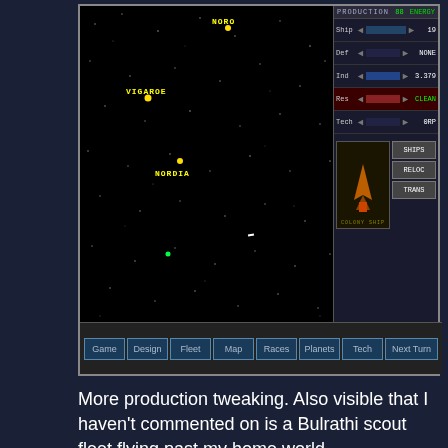[Figure (screenshot): Master of Orion style space strategy game screenshot showing star map with locations NORO, VIGAROE, NORDIA labeled, and a sidebar with PRODUCTION stats (Ship 19, Def NONE, Ind 3.379, Res CLEAN, Tech 0RP) and Colony Ship panel with SHIPS, RELOC, TRANS buttons. Bottom menu bar shows: Game, Design, Fleet, Map, Races, Planets, Tech, Next Turn]
More production tweaking. Also visible that I haven't commented on is a Bulrathi scout fleet flying past my home world.
[Figure (screenshot): Second game screenshot showing same star map with ORSA, NORO, VIGAROE, NORDIA labels. Sidebar shows Vigaroe planet info (TERRAN, POP 100 MAX), stats: POP 87, BASES 0, PRODUCTION, Ship 19, Def NONE, Ind 3.779, Res CLEAN, Tech 0RP]